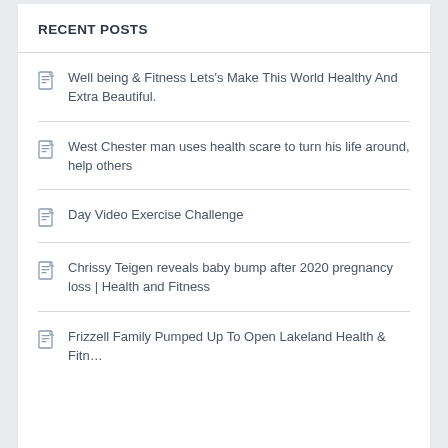RECENT POSTS
Well being & Fitness Lets's Make This World Healthy And Extra Beautiful.
West Chester man uses health scare to turn his life around, help others
Day Video Exercise Challenge
Chrissy Teigen reveals baby bump after 2020 pregnancy loss | Health and Fitness
Frizzell Family Pumped Up To Open Lakeland Health & Fitness